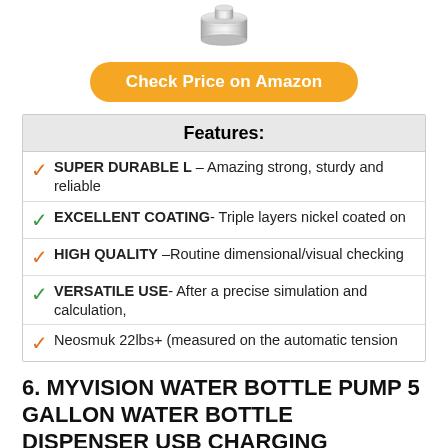[Figure (photo): Small cylindrical metallic product (magnet or dispenser pump cap), silver/chrome colored, viewed from slight angle above, on white background]
Check Price on Amazon
| Features: |
| --- |
| ✓ SUPER DURABLE L – Amazing strong, sturdy and reliable |
| ✓ EXCELLENT COATING- Triple layers nickel coated on |
| ✓ HIGH QUALITY –Routine dimensional/visual checking |
| ✓ VERSATILE USE- After a precise simulation and calculation, |
| ✓ Neosmuk 22lbs+ (measured on the automatic tension |
6. MYVISION WATER BOTTLE PUMP 5 GALLON WATER BOTTLE DISPENSER USB CHARGING AUTOMATIC DRINKING WATER PUMP PORTABLE ELECTRIC WATER DISPENSER WATER BOTTLE SWITCH (WHITE)